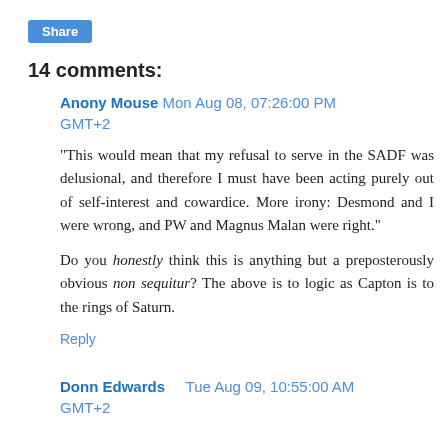Share
14 comments:
Anony Mouse Mon Aug 08, 07:26:00 PM GMT+2
"This would mean that my refusal to serve in the SADF was delusional, and therefore I must have been acting purely out of self-interest and cowardice. More irony: Desmond and I were wrong, and PW and Magnus Malan were right."
Do you honestly think this is anything but a preposterously obvious non sequitur? The above is to logic as Capton is to the rings of Saturn.
Reply
Donn Edwards  Tue Aug 09, 10:55:00 AM GMT+2